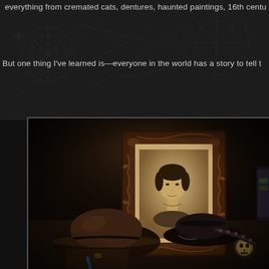everything from cremated cats, dentures, haunted paintings, 16th centu...
But one thing I've learned is—everyone in the world has a story to tell t...
[Figure (photo): Sepia-toned photograph showing a collection of antique objects on a dark surface: a framed portrait photograph of a young girl with short dark hair, a dark felt hat, a black military-style cap or hat, a small black case, and what appears to be gold/silver accessories. The background is dark and atmospheric. Items suggest curios or personal effects.]